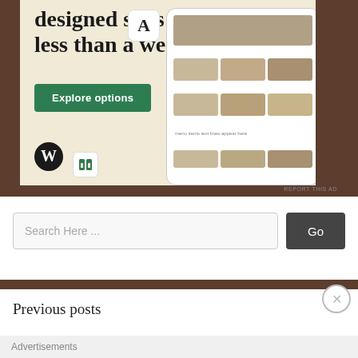[Figure (screenshot): WordPress/Hostinger advertisement showing 'designed sites in less than a week' text with an Explore options button, WordPress logo, and phone mockup showing a food website]
REPORT THIS AD
Search Here ...
Go
Previous posts
Advertisements